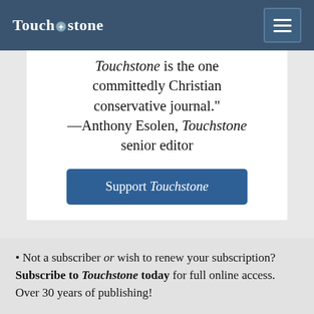Touchstone
Touchstone is the one committedly Christian conservative journal." —Anthony Esolen, Touchstone senior editor
Support Touchstone
Not a subscriber or wish to renew your subscription? Subscribe to Touchstone today for full online access. Over 30 years of publishing!